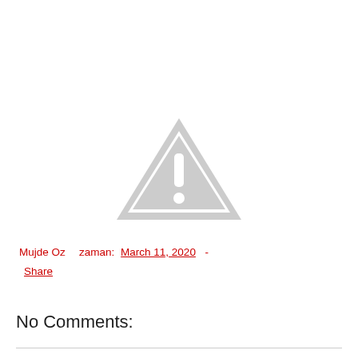[Figure (illustration): Gray warning triangle icon with white exclamation mark inside]
Mujde Oz    zaman: March 11, 2020  -
Share
No Comments: